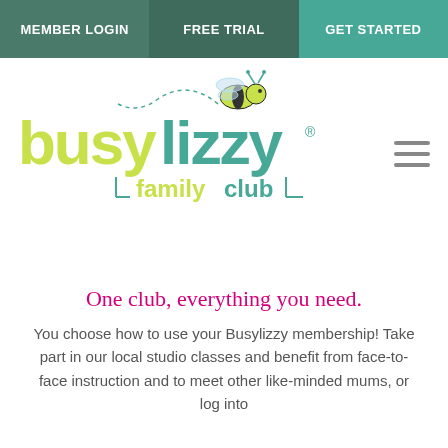MEMBER LOGIN | FREE TRIAL | GET STARTED
[Figure (logo): Busylizzy family club logo with bee illustration and colorful text]
One club, everything you need.
You choose how to use your Busylizzy membership! Take part in our local studio classes and benefit from face-to-face instruction and to meet other like-minded mums, or log into